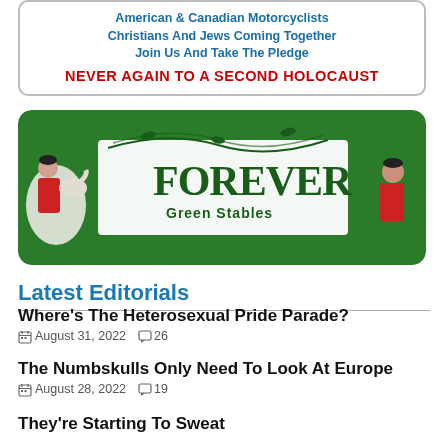[Figure (other): Advertisement banner: American & Canadian Motorcyclists Christians And Jews Coming Together Join Us And Take The Pledge NEVER AGAIN TO A SECOND HOLOCAUST]
[Figure (other): ForEVER Green Stables advertisement banner with equestrian figures and a horse]
Latest Editorials
Where's The Heterosexual Pride Parade?
August 31, 2022   26
The Numbskulls Only Need To Look At Europe
August 28, 2022   19
They're Starting To Sweat